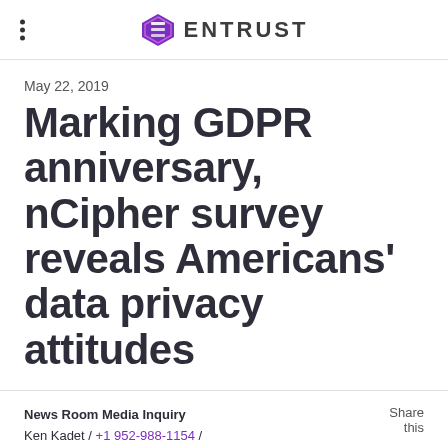ENTRUST
May 22, 2019
Marking GDPR anniversary, nCipher survey reveals Americans' data privacy attitudes
News Room Media Inquiry
Ken Kadet / +1 952-988-1154 /
Share this